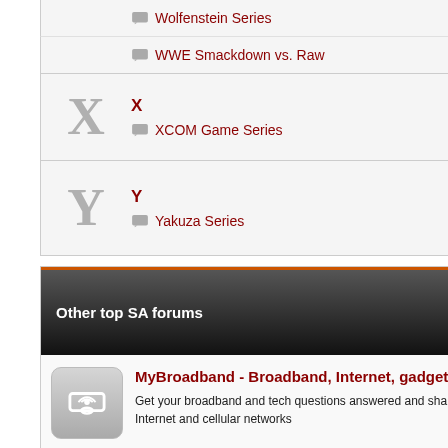Wolfenstein Series
WWE Smackdown vs. Raw
X — XCOM Game Series
Y — Yakuza Series
Other top SA forums | Threads / Posts | Last Post
MyBroadband - Broadband, Internet, gadget and technology discussions
Get your broadband and tech questions answered and share your thoughts on gadgets, SA's Internet and cellular networks
4x4community - SA 4x4 Community Forum
The only forum for the 4x4 and offroad enthusiast